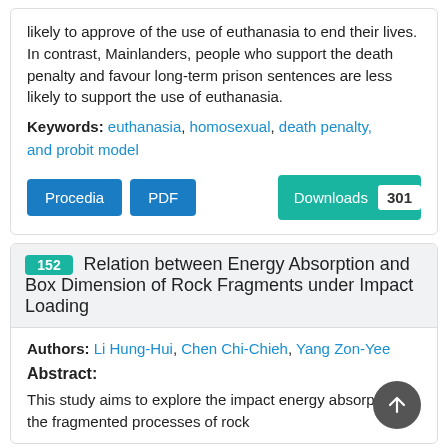likely to approve of the use of euthanasia to end their lives. In contrast, Mainlanders, people who support the death penalty and favour long-term prison sentences are less likely to support the use of euthanasia.
Keywords: euthanasia, homosexual, death penalty, and probit model
Procedia  PDF  Downloads 301
152 Relation between Energy Absorption and Box Dimension of Rock Fragments under Impact Loading
Authors: Li Hung-Hui, Chen Chi-Chieh, Yang Zon-Yee
Abstract:
This study aims to explore the impact energy absorption in the fragmented processes of rock